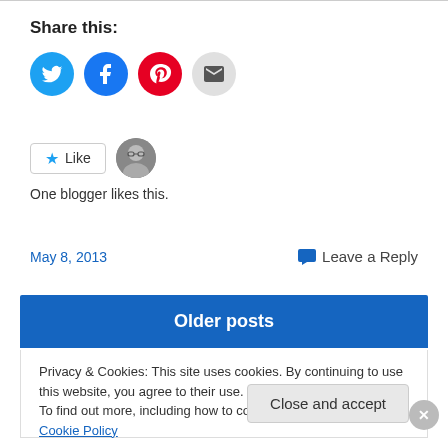Share this:
[Figure (infographic): Four social sharing buttons: Twitter (blue circle), Facebook (blue circle), Pinterest (red circle), Email (grey circle)]
[Figure (infographic): Like button with star icon and blogger avatar photo]
One blogger likes this.
May 8, 2013
💬 Leave a Reply
Older posts
Privacy & Cookies: This site uses cookies. By continuing to use this website, you agree to their use.
To find out more, including how to control cookies, see here: Cookie Policy
Close and accept